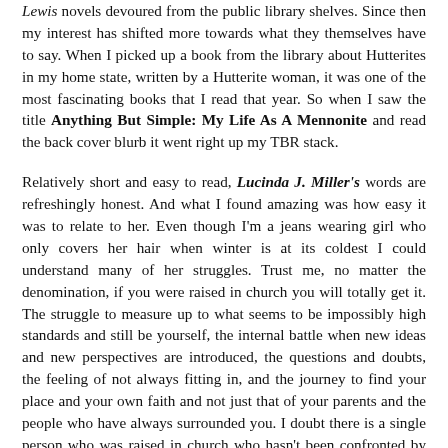Lewis novels devoured from the public library shelves. Since then my interest has shifted more towards what they themselves have to say. When I picked up a book from the library about Hutterites in my home state, written by a Hutterite woman, it was one of the most fascinating books that I read that year. So when I saw the title Anything But Simple: My Life As A Mennonite and read the back cover blurb it went right up my TBR stack.
Relatively short and easy to read, Lucinda J. Miller's words are refreshingly honest. And what I found amazing was how easy it was to relate to her. Even though I'm a jeans wearing girl who only covers her hair when winter is at its coldest I could understand many of her struggles. Trust me, no matter the denomination, if you were raised in church you will totally get it. The struggle to measure up to what seems to be impossibly high standards and still be yourself, the internal battle when new ideas and new perspectives are introduced, the questions and doubts, the feeling of not always fitting in, and the journey to find your place and your own faith and not just that of your parents and the people who have always surrounded you. I doubt there is a single person who was raised in church who hasn't been confronted by someone they like or trust with questions, sometimes